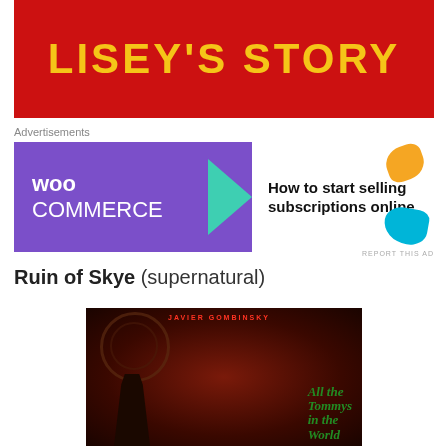[Figure (other): Red banner with text LISEY'S STORY in bold yellow letters]
Advertisements
[Figure (other): WooCommerce advertisement banner with purple background, teal arrow, and text: How to start selling subscriptions online]
REPORT THIS AD
Ruin of Skye (supernatural)
[Figure (illustration): Book cover: All the Tommys in the World by Javier Gombinsky. Dark red background with gothic circle ornament, silhouette of a figure, ivy/leaves details, and gothic green text title.]